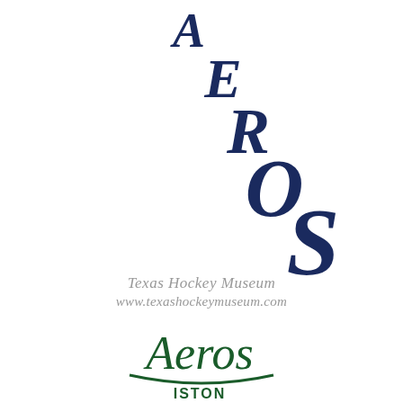[Figure (logo): Houston Aeros hockey team logo - letters A, E, R, O, S arranged diagonally in large dark navy bold italic serif font, each letter stepping down and to the right, growing progressively larger]
Texas Hockey Museum
www.texashockeymuseum.com
[Figure (logo): Houston Aeros script logo in dark green - cursive 'Aeros' text with 'HOUSTON' below in a baseball-style banner treatment, partially cropped at bottom]